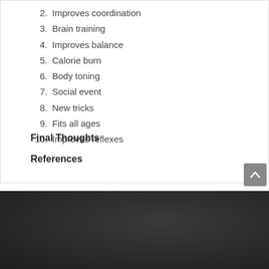2.  Improves coordination
3.  Brain training
4.  Improves balance
5.  Calorie burn
6.  Body toning
7.  Social event
8.  New tricks
9.  Fits all ages
10.  Improves reflexes
Final Thoughts
References
[Figure (logo): Ping Pong logo on dark background with red italic bold text and a circular graphic element]